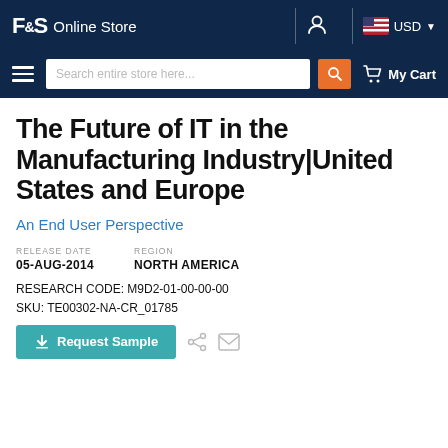F&S Online Store   USD
Search entire store here...   My Cart
The Future of IT in the Manufacturing Industry│United States and Europe
An End User Perspective
RELEASE DATE
05-AUG-2014
REGION
NORTH AMERICA
RESEARCH CODE: M9D2-01-00-00-00
SKU: TE00302-NA-CR_01785
Request Sample